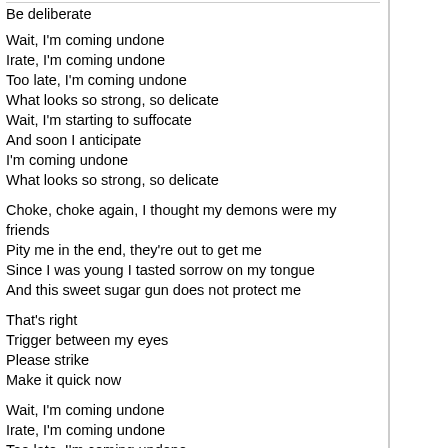Be deliberate
Wait, I'm coming undone
Irate, I'm coming undone
Too late, I'm coming undone
What looks so strong, so delicate
Wait, I'm starting to suffocate
And soon I anticipate
I'm coming undone
What looks so strong, so delicate
Choke, choke again, I thought my demons were my friends
Pity me in the end, they're out to get me
Since I was young I tasted sorrow on my tongue
And this sweet sugar gun does not protect me
That's right
Trigger between my eyes
Please strike
Make it quick now
Wait, I'm coming undone
Irate, I'm coming undone
Too late, I'm coming undone
What looks so strong, so delicate
Wait, I'm starting to suffocate
And soon I anticipate
I'm coming undone
What looks so strong, so delicate